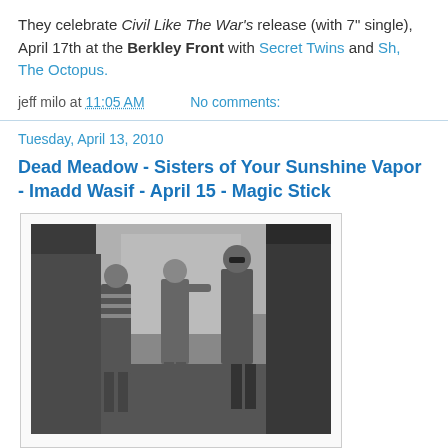They celebrate Civil Like The War's release (with 7" single), April 17th at the Berkley Front with Secret Twins and Sh, The Octopus.
jeff milo at 11:05 AM    No comments:
Tuesday, April 13, 2010
Dead Meadow - Sisters of Your Sunshine Vapor - Imadd Wasif - April 15 - Magic Stick
[Figure (photo): Black and white photograph of three men standing outdoors among overgrown vegetation and trees. The image has a vintage look.]